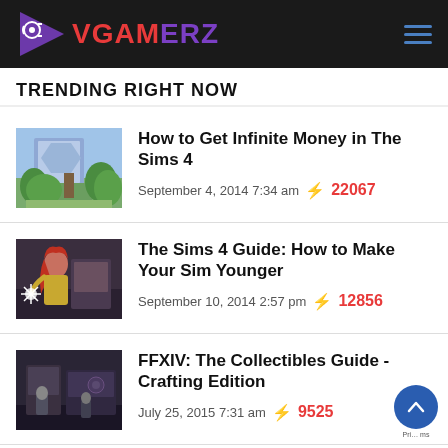VGAMERZ
TRENDING RIGHT NOW
How to Get Infinite Money in The Sims 4
September 4, 2014 7:34 am ⚡ 22067
The Sims 4 Guide: How to Make Your Sim Younger
September 10, 2014 2:57 pm ⚡ 12856
FFXIV: The Collectibles Guide - Crafting Edition
July 25, 2015 7:31 am ⚡ 9525